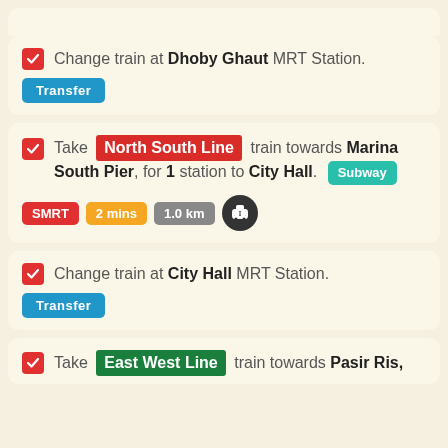Change train at Dhoby Ghaut MRT Station. Transfer
Take North South Line train towards Marina South Pier, for 1 station to City Hall. Subway SMRT 2 mins 1.0 km
Change train at City Hall MRT Station. Transfer
Take East West Line train towards Pasir Ris,